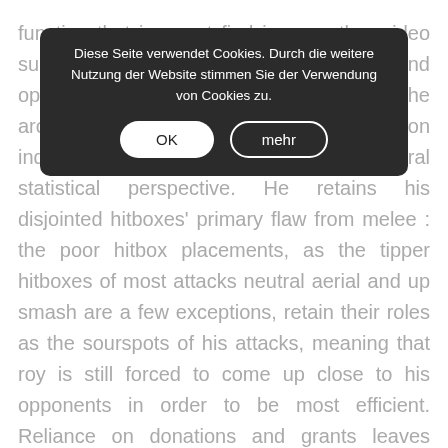function that i cannot find in any other video surveillance-software. Trends and opportunities of bim-gis integration in the architecture, engineering and construction industry: a review from a spatio-temporal statistical perspective. He retains his disjointed hitboxes' primary flaw from melee : the poor hitbox placements, as the tipper hitboxes of most attacks neutral aerial and up smash are a few exceptions, retain their roles as the sourspots of his attacks, meaning that roy is still forced to come up close to his opponents in order to be most efficient. Reliance on donations and grants leaves news organisations particularly dependent on the wealthy, and on the philanthropic foundations of the very rich. Brees married his college sweetheart brittany
Diese Seite verwendet Cookies. Durch die weitere Nutzung der Website stimmen Sie der Verwendung von Cookies zu.